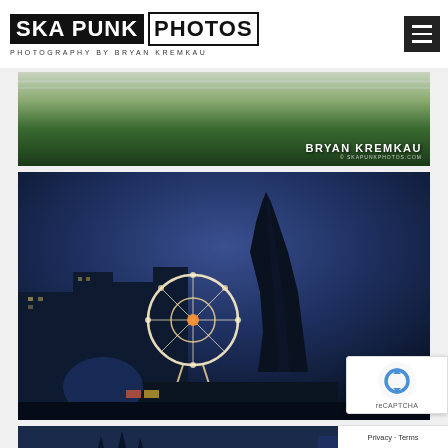SKA PUNK PHOTOS — PHOTOGRAPHY BY BRYAN KREMKAU
[Figure (photo): Partial photo showing green grass and a fence, with Bryan Kremkau / skapunkphotos.com watermark in bottom right]
[Figure (photo): Nighttime photo of Edinburgh cityscape with ferris wheel, Scott Monument spire, and city lights against blue twilight sky. Bryan Kremkau / skapunkphotos.com watermark partially visible.]
[Figure (photo): Partial view of another nighttime Edinburgh photo at bottom of page]
Privacy · Terms